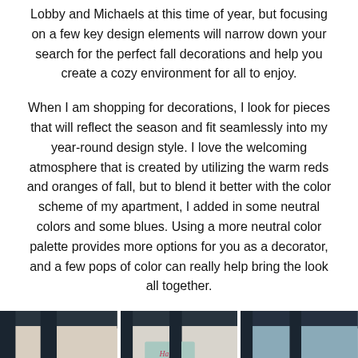Lobby and Michaels at this time of year, but focusing on a few key design elements will narrow down your search for the perfect fall decorations and help you create a cozy environment for all to enjoy.
When I am shopping for decorations, I look for pieces that will reflect the season and fit seamlessly into my year-round design style. I love the welcoming atmosphere that is created by utilizing the warm reds and oranges of fall, but to blend it better with the color scheme of my apartment, I added in some neutral colors and some blues. Using a more neutral color palette provides more options for you as a decorator, and a few pops of color can really help bring the look all together.
[Figure (photo): Three side-by-side photos: left shows fall floral arrangement with warm orange/yellow flowers against dark background, center shows a 'Happy' sign on light background with dark vertical elements, right shows a gold/bronze candle holder against a blue-grey background.]